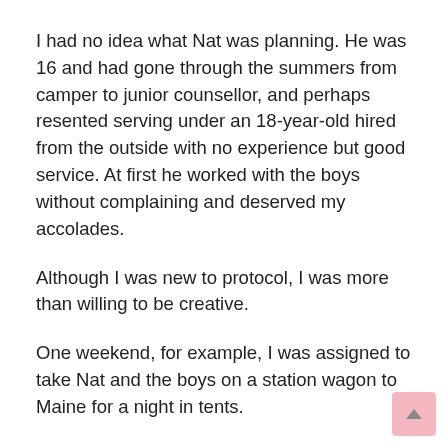I had no idea what Nat was planning. He was 16 and had gone through the summers from camper to junior counsellor, and perhaps resented serving under an 18-year-old hired from the outside with no experience but good service. At first he worked with the boys without complaining and deserved my accolades.
Although I was new to protocol, I was more than willing to be creative.
One weekend, for example, I was assigned to take Nat and the boys on a station wagon to Maine for a night in tents.
Upon reaching the designated forest in the late